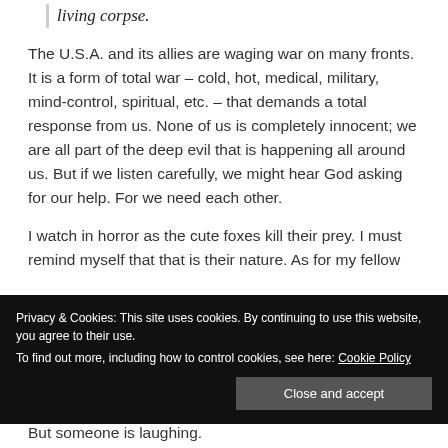living corpse.
The U.S.A. and its allies are waging war on many fronts.  It is a form of total war – cold, hot, medical, military, mind-control, spiritual, etc. – that demands a total response from us.  None of us is completely innocent; we are all part of the deep evil that is happening all around us.  But if we listen carefully, we might hear God asking for our help.  For we need each other.
I watch in horror as the cute foxes kill their prey.  I must remind myself that that is their nature.  As for my fellow
Privacy & Cookies: This site uses cookies. By continuing to use this website, you agree to their use.
To find out more, including how to control cookies, see here: Cookie Policy
Close and accept
But someone is laughing.